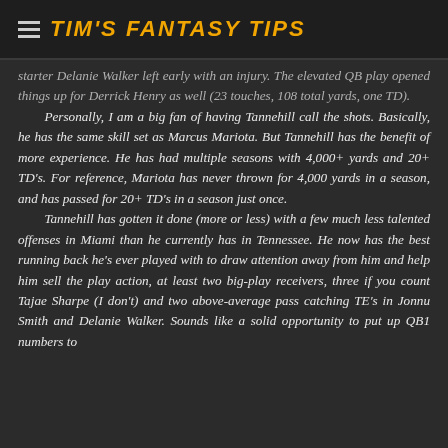TIM'S FANTASY TIPS
starter Delanie Walker left early with an injury. The elevated QB play opened things up for Derrick Henry as well (23 touches, 108 total yards, one TD).

Personally, I am a big fan of having Tannehill call the shots. Basically, he has the same skill set as Marcus Mariota. But Tannehill has the benefit of more experience. He has had multiple seasons with 4,000+ yards and 20+ TD's. For reference, Mariota has never thrown for 4,000 yards in a season, and has passed for 20+ TD's in a season just once.

Tannehill has gotten it done (more or less) with a few much less talented offenses in Miami than he currently has in Tennessee. He now has the best running back he's ever played with to draw attention away from him and help him sell the play action, at least two big-play receivers, three if you count Tajae Sharpe (I don't) and two above-average pass catching TE's in Jonnu Smith and Delanie Walker. Sounds like a solid opportunity to put up QB1 numbers to